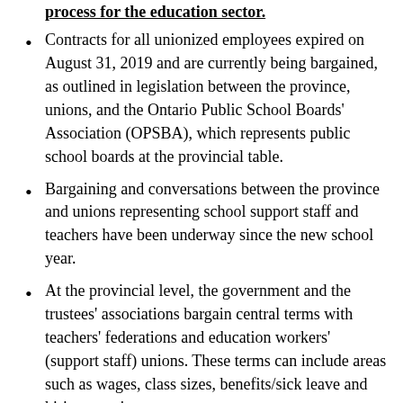Contracts for all unionized employees expired on August 31, 2019 and are currently being bargained, as outlined in legislation between the province, unions, and the Ontario Public School Boards' Association (OPSBA), which represents public school boards at the provincial table.
Bargaining and conversations between the province and unions representing school support staff and teachers have been underway since the new school year.
At the provincial level, the government and the trustees' associations bargain central terms with teachers' federations and education workers' (support staff) unions. These terms can include areas such as wages, class sizes, benefits/sick leave and hiring practices.
The provincial issues are ones that have the greatest monetary effect and they apply to all school boards across the province.
At the local level, individual school boards bargain directly with their local unions on local issues. These issues are